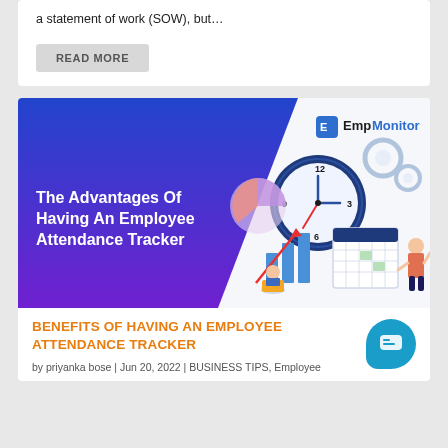a statement of work (SOW), but…
READ MORE
[Figure (illustration): EmpMonitor branded blog post banner image showing a clock, calendar, employee at laptop, bar chart, gear icons, and the text 'The Advantages Of Having An Employee Attendance Tracker' on a blue gradient background.]
BENEFITS OF HAVING AN EMPLOYEE ATTENDANCE TRACKER
by priyanka bose | Jun 20, 2022 | BUSINESS TIPS, Employee